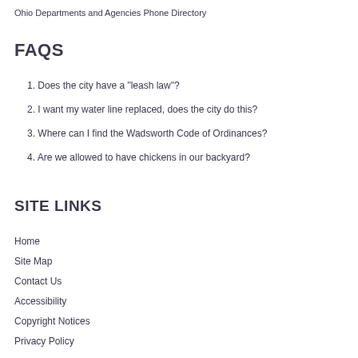Ohio Departments and Agencies Phone Directory
FAQS
1. Does the city have a "leash law"?
2. I want my water line replaced, does the city do this?
3. Where can I find the Wadsworth Code of Ordinances?
4. Are we allowed to have chickens in our backyard?
SITE LINKS
Home
Site Map
Contact Us
Accessibility
Copyright Notices
Privacy Policy